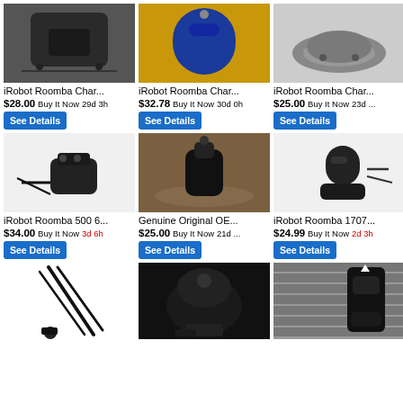[Figure (photo): iRobot Roomba charger/docking station, dark color, on gray surface]
iRobot Roomba Char...
$28.00 Buy It Now 29d 3h
See Details
[Figure (photo): iRobot Roomba charger, blue/dark color, on yellow background]
iRobot Roomba Char...
$32.78 Buy It Now 30d 0h
See Details
[Figure (photo): iRobot Roomba charger, gray metallic, on white background]
iRobot Roomba Char...
$25.00 Buy It Now 23d ...
See Details
[Figure (photo): iRobot Roomba 500 series docking station with cables, black]
iRobot Roomba 500 6...
$34.00 Buy It Now 3d 6h
See Details
[Figure (photo): Genuine Original OEM Roomba charger on decorative rug]
Genuine Original OE...
$25.00 Buy It Now 21d ...
See Details
[Figure (photo): iRobot Roomba 1707 charger, black, on white background]
iRobot Roomba 1707...
$24.99 Buy It Now 2d 3h
See Details
[Figure (photo): Black power cord/cable on white background]
[Figure (photo): iRobot Roomba charger dock, black, with accessories]
[Figure (photo): iRobot Roomba charger dock mounted on brick wall with cable]